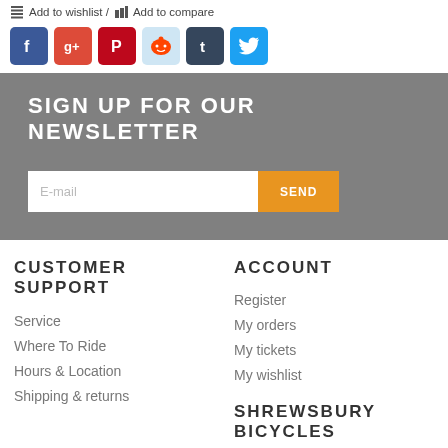Add to wishlist / Add to compare
[Figure (illustration): Row of social media icons: Facebook, Google+, Pinterest, Reddit, Tumblr, Twitter]
SIGN UP FOR OUR NEWSLETTER
E-mail
SEND
CUSTOMER SUPPORT
Service
Where To Ride
Hours & Location
Shipping & returns
ACCOUNT
Register
My orders
My tickets
My wishlist
SHREWSBURY BICYCLES
Where People And Bicycles